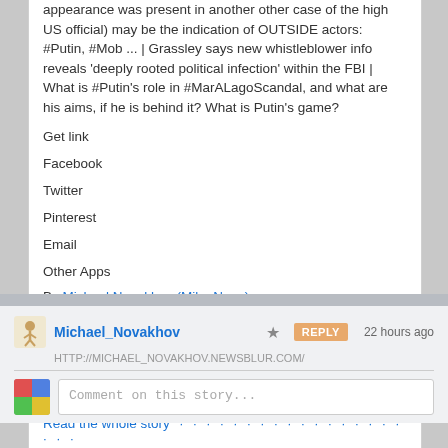appearance was present in another other case of the high US official) may be the indication of OUTSIDE actors: #Putin, #Mob ... | Grassley says new whistleblower info reveals 'deeply rooted political infection' within the FBI | What is #Putin's role in #MarALagoScandal, and what are his aims, if he is behind it? What is Putin's game?
Get link
Facebook
Twitter
Pinterest
Email
Other Apps
By Michael Novakhov (Mike Nova)
[Figure (illustration): Red banner with white heartbeat/pulse line graphic on red background]
Read the whole story · · · · · · · · · · · · · · · · · · · ·
Michael_Novakhov   ★   REPLY   22 hours ago
HTTP://MICHAEL_NOVAKHOV.NEWSBLUR.COM/
Comment on this story...